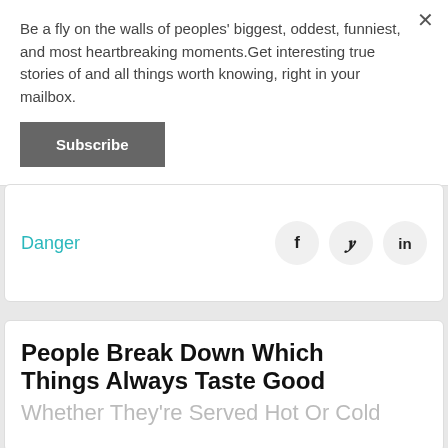Be a fly on the walls of peoples' biggest, oddest, funniest, and most heartbreaking moments.Get interesting true stories of and all things worth knowing, right in your mailbox.
Subscribe
Danger
People Break Down Which Things Always Taste Good Whether They're Served Hot Or Cold